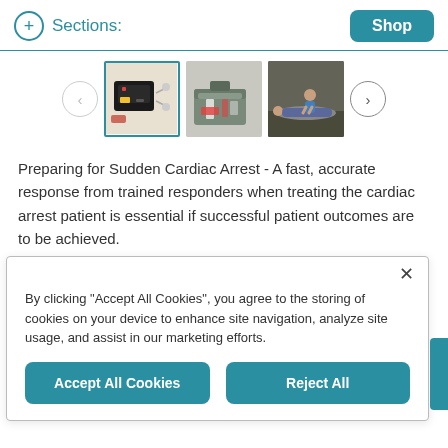Sections: Shop
[Figure (screenshot): Carousel of three thumbnail images: an AED/defibrillator device (selected, highlighted with teal border), a first aid kit open case, and a person performing CPR on a patient. Navigation arrows on each side.]
Preparing for Sudden Cardiac Arrest - A fast, accurate response from trained responders when treating the cardiac arrest patient is essential if successful patient outcomes are to be achieved.
By clicking "Accept All Cookies", you agree to the storing of cookies on your device to enhance site navigation, analyze site usage, and assist in our marketing efforts.
Accept All Cookies  Reject All